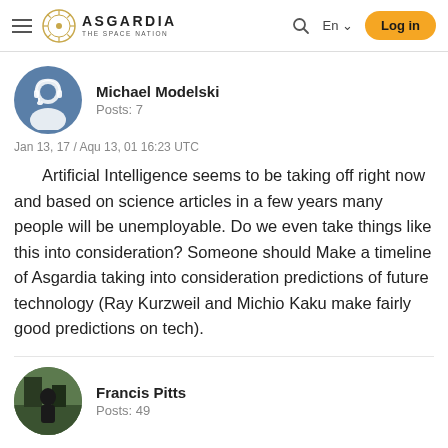Asgardia – The Space Nation | Log in
Michael Modelski
Posts: 7
Jan 13, 17 / Aqu 13, 01 16:23 UTC
Artificial Intelligence seems to be taking off right now and based on science articles in a few years many people will be unemployable. Do we even take things like this into consideration? Someone should Make a timeline of Asgardia taking into consideration predictions of future technology (Ray Kurzweil and Michio Kaku make fairly good predictions on tech).
Francis Pitts
Posts: 49